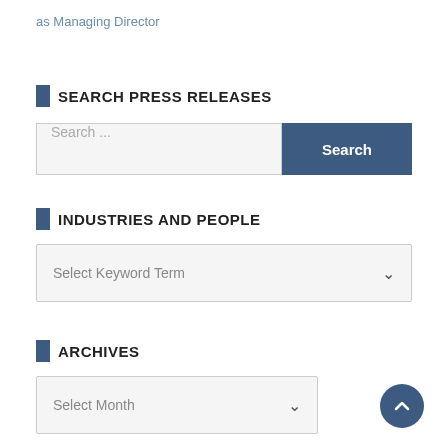as Managing Director
SEARCH PRESS RELEASES
[Figure (screenshot): Search input field with placeholder 'Search ...' and a dark blue Search button]
INDUSTRIES AND PEOPLE
[Figure (screenshot): Dropdown selector with placeholder 'Select Keyword Term']
ARCHIVES
[Figure (screenshot): Dropdown selector with placeholder 'Select Month']